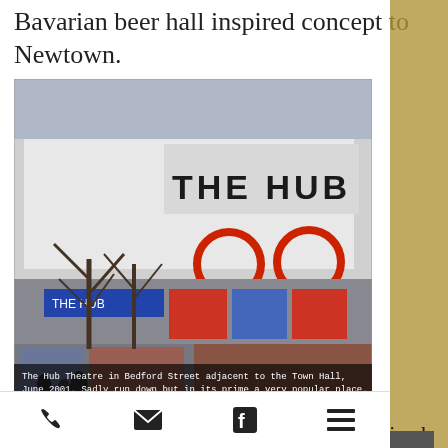Bavarian beer hall inspired concept to Newtown.
[Figure (photo): The Hub Theatre in Bedford Street adjacent to the Town Hall, June 2001. Sadly run down but in its prime a very popular place.]
The Hub Theatre in Bedford Street adjacent to the Town Hall, June 2001. Sadly run down but in its prime a very popular place.
The organisers were looking for medium-sized breweries with little or no representation in the Sydney market to contribute to the project. Vale told Brews News he expected the
Phone | Email | Facebook | Menu